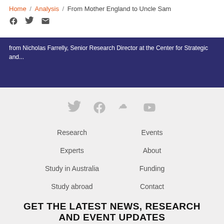Home / Analysis / From Mother England to Uncle Sam
from Nicholas Farrelly, Senior Research Director at the Center for Strategic and...
[Figure (infographic): Footer social media icons: Twitter, Facebook, SoundCloud, YouTube in light grey]
Research
Events
Experts
About
Study in Australia
Funding
Study abroad
Contact
GET THE LATEST NEWS, RESEARCH AND EVENT UPDATES